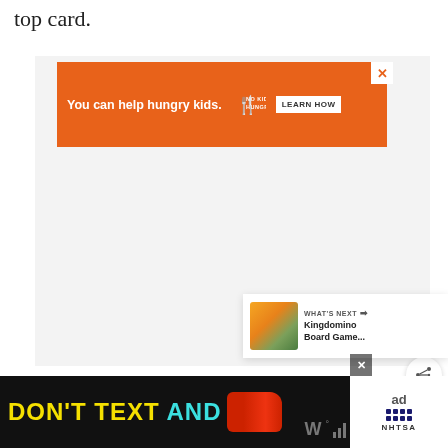top card.
[Figure (infographic): Orange advertisement banner: 'You can help hungry kids. NO KID HUNGRY LEARN HOW' with close button]
[Figure (other): Large light gray empty content area with green heart favorite button and white share button on right side]
[Figure (infographic): WHAT'S NEXT card showing Kingdomino Board Game... thumbnail]
[Figure (infographic): Bottom black banner ad: DON'T TEXT AND [car image] with ad badge showing NHTSA logo]